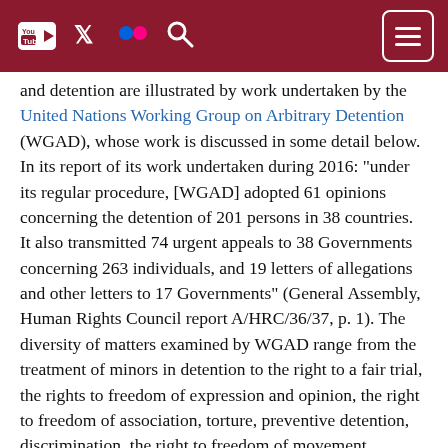[Navigation bar with YouTube, Twitter, Flickr, Search icons and menu button]
and detention are illustrated by work undertaken by the United Nations Working Group on Arbitrary Detention (WGAD), whose work is discussed in some detail below. In its report of its work undertaken during 2016: "under its regular procedure, [WGAD] adopted 61 opinions concerning the detention of 201 persons in 38 countries. It also transmitted 74 urgent appeals to 38 Governments concerning 263 individuals, and 19 letters of allegations and other letters to 17 Governments" (General Assembly, Human Rights Council report A/HRC/36/37, p. 1). The diversity of matters examined by WGAD range from the treatment of minors in detention to the right to a fair trial, the rights to freedom of expression and opinion, the right to freedom of association, torture, preventive detention, discrimination, the right to freedom of movement, unlawful arrest, reprisals, to the right to dignity in relation to health-care services in detention.
This Module, which is a primer for broader exploration, attention to the